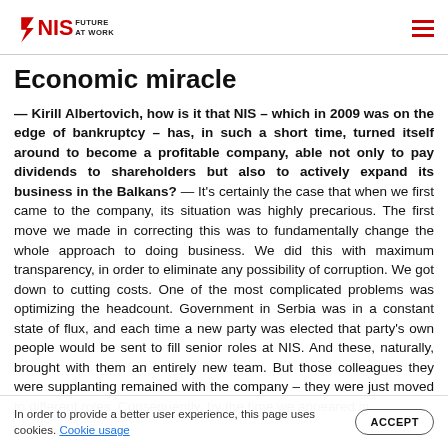NIS FUTURE AT WORK
Economic miracle
— Kirill Albertovich, how is it that NIS – which in 2009 was on the edge of bankruptcy – has, in such a short time, turned itself around to become a profitable company, able not only to pay dividends to shareholders but also to actively expand its business in the Balkans? — It's certainly the case that when we first came to the company, its situation was highly precarious. The first move we made in correcting this was to fundamentally change the whole approach to doing business. We did this with maximum transparency, in order to eliminate any possibility of corruption. We got down to cutting costs. One of the most complicated problems was optimizing the headcount. Government in Serbia was in a constant state of flux, and each time a new party was elected that party's own people would be sent to fill senior roles at NIS. And these, naturally, brought with them an entirely new team. But those colleagues they were supplanting remained with the company – they were just moved to different roles. Consequently, by the time we appeared in [obscured] and their troops, at considerable [obscured] the company. However, agreements between the
In order to provide a better user experience, this page uses cookies. Cookie usage